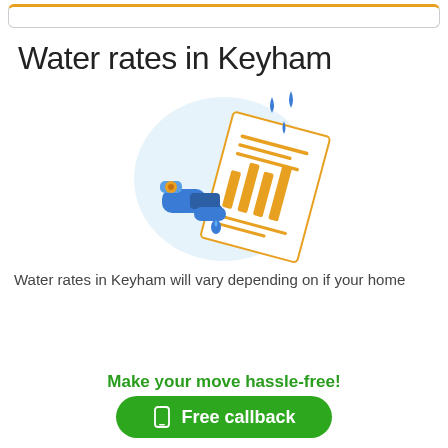Water rates in Keyham
[Figure (illustration): Illustration of a water tap/faucet with water droplets dripping, next to a document/bill with orange bar chart lines, set against a light blue geometric background. Represents water billing and rates.]
Water rates in Keyham will vary depending on if your home
Make your move hassle-free!
Free callback